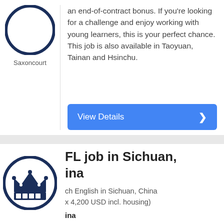an end-of-contract bonus. If you're looking for a challenge and enjoy working with young learners, this is your perfect chance. This job is also available in Taoyuan, Tainan and Hsinchu.
Saxoncourt
View Details
[Figure (logo): Crown logo inside a dark blue circle for a job listing organization]
FL job in Sichuan, China
teach English in Sichuan, China (approx 4,200 USD incl. housing)
China